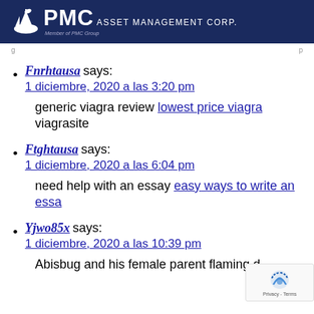[Figure (logo): PMC Asset Management Corp. logo with ship icon on dark navy background header]
Fnrhtausa says:
1 diciembre, 2020 a las 3:20 pm
generic viagra review lowest price viagra viagrasite
Ftghtausa says:
1 diciembre, 2020 a las 6:04 pm
need help with an essay easy ways to write an essay
Yjwo85x says:
1 diciembre, 2020 a las 10:39 pm
Abisbug and his female parent flaming d...